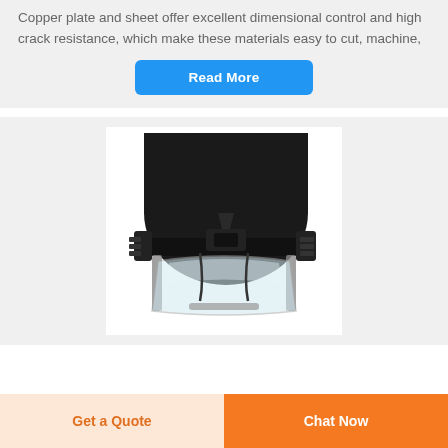Copper plate and sheet offer excellent dimensional control and high crack resistance, which make these materials easy to cut, machine,
Read More
[Figure (photo): Black tactical/ballistic helmet with clear face shield visor attached, front-facing view on white background]
Get a Quote
Chat Now